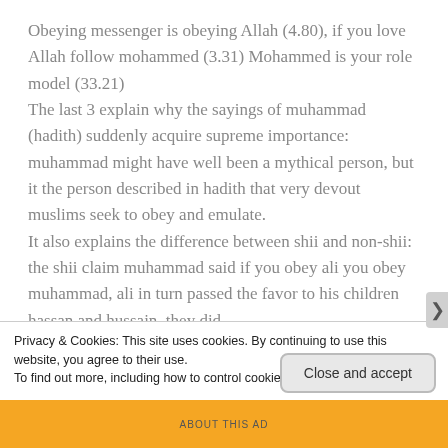Obeying messenger is obeying Allah (4.80), if you love Allah follow mohammed (3.31) Mohammed is your role model (33.21)
The last 3 explain why the sayings of muhammad (hadith) suddenly acquire supreme importance: muhammad might have well been a mythical person, but it the person described in hadith that very devout muslims seek to obey and emulate.
It also explains the difference between shii and non-shii: the shii claim muhammad said if you obey ali you obey muhammad, ali in turn passed the favor to his children hassan and hussain, they did
Privacy & Cookies: This site uses cookies. By continuing to use this website, you agree to their use.
To find out more, including how to control cookies, see here: Cookie Policy
Close and accept